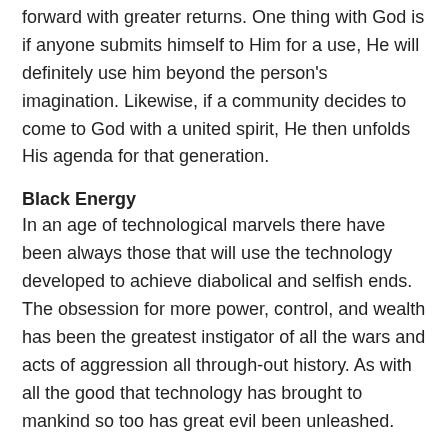forward with greater returns. One thing with God is if anyone submits himself to Him for a use, He will definitely use him beyond the person's imagination. Likewise, if a community decides to come to God with a united spirit, He then unfolds His agenda for that generation.
Black Energy
In an age of technological marvels there have been always those that will use the technology developed to achieve diabolical and selfish ends. The obsession for more power, control, and wealth has been the greatest instigator of all the wars and acts of aggression all through-out history. As with all the good that technology has brought to mankind so too has great evil been unleashed.
The Balance Of Power
Today, the world is saturated with ignorance and hatred where